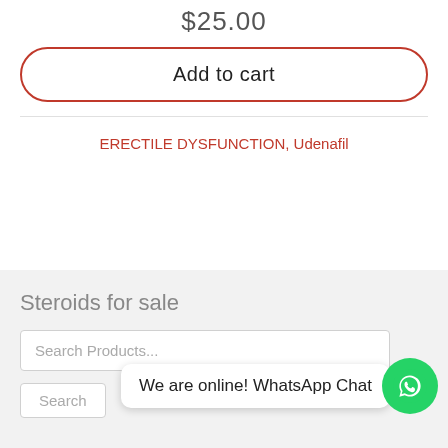$25.00
Add to cart
ERECTILE DYSFUNCTION, Udenafil
Steroids for sale
Search Products...
Search
We are online! WhatsApp Chat